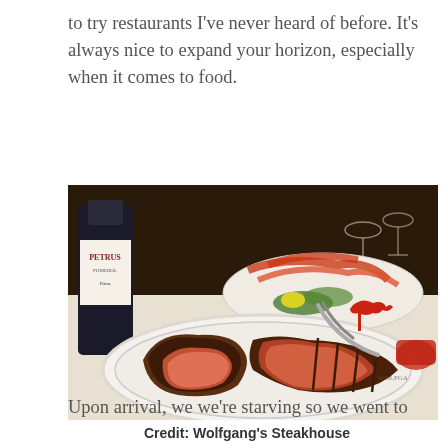to try restaurants I've never heard of before. It's always nice to expand your horizon, especially when it comes to food.
[Figure (photo): A plate of sliced T-bone or Porterhouse steak cooked medium-rare, served on a white plate. In the background there is a wine bottle labeled 'PETRUS' on the left, and a platter of what appears to be seafood (crab legs and greens). A red animal-shaped steak marker is visible in the center. The restaurant appears to be Wolfgang's Steakhouse.]
Credit: Wolfgang's Steakhouse
Upon arrival, we were starving so we went to